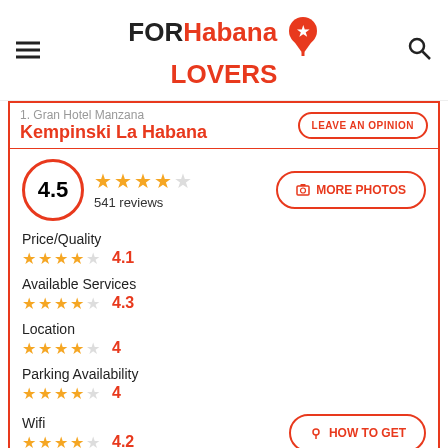FORHabana LOVERS
1. Gran Hotel Manzana Kempinski La Habana
LEAVE AN OPINION
4.5 — 541 reviews
MORE PHOTOS
Price/Quality — 4.1
Available Services — 4.3
Location — 4
Parking Availability — 4
Wifi — 4.2
HOW TO GET